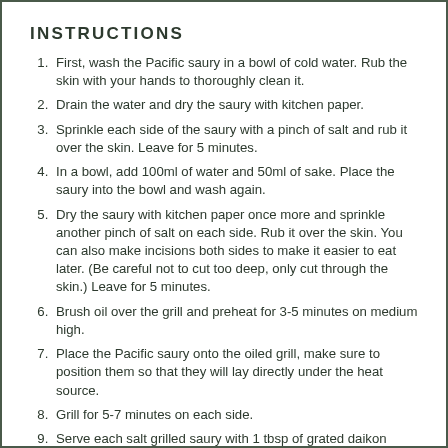INSTRUCTIONS
First, wash the Pacific saury in a bowl of cold water. Rub the skin with your hands to thoroughly clean it.
Drain the water and dry the saury with kitchen paper.
Sprinkle each side of the saury with a pinch of salt and rub it over the skin. Leave for 5 minutes.
In a bowl, add 100ml of water and 50ml of sake. Place the saury into the bowl and wash again.
Dry the saury with kitchen paper once more and sprinkle another pinch of salt on each side. Rub it over the skin. You can also make incisions both sides to make it easier to eat later. (Be careful not to cut too deep, only cut through the skin.) Leave for 5 minutes.
Brush oil over the grill and preheat for 3-5 minutes on medium high.
Place the Pacific saury onto the oiled grill, make sure to position them so that they will lay directly under the heat source.
Grill for 5-7 minutes on each side.
Serve each salt grilled saury with 1 tbsp of grated daikon drizzled with soy sauce and a wedge of your chosen citrus.
Enjoy with rice and miso soup!